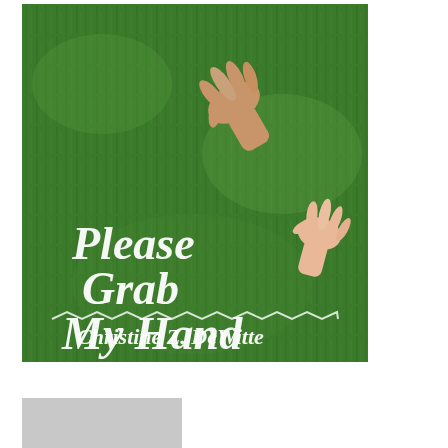[Figure (photo): Book cover of 'Please Grab My Hand' by Christine Z. DeWitte. Shows two hands reaching toward each other (an adult's and a child's) against a background of green grass. Title text in white cursive script reads 'Please Grab My Hand' with author name 'Christine Z. DeWitte' below a decorative chevron divider line.]
When I Fall Please Grab My Hand pdf
[Figure (photo): Partially visible thumbnail image, appears gray/placeholder]